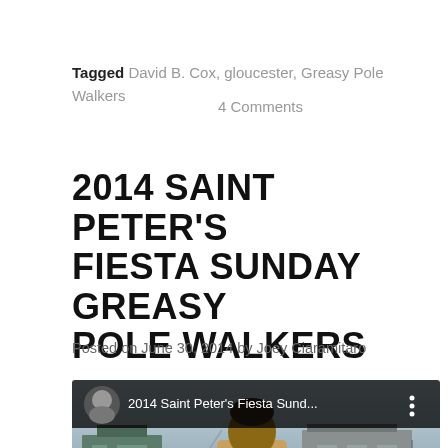Tagged David B. Cox, gloucester, Greasy Pole Walkers    4 Comments
2014 SAINT PETER'S FIESTA SUNDAY GREASY POLE WALKERS
Posted on June 30, 2014 by Joey Ciaramitaro
[Figure (screenshot): YouTube video thumbnail showing '2014 Saint Peter's Fiesta Sund...' with a man in costume near a harbor/dock scene, featuring a red YouTube play button overlay.]